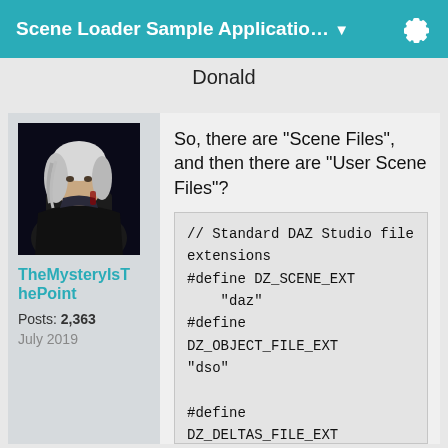Scene Loader Sample Applicatio… ▼
Donald
[Figure (photo): Avatar photo of a fantasy character with white hair in dark clothing]
TheMysteryIsThePoint
Posts: 2,363
July 2019
So, there are "Scene Files", and then there are "User Scene Files"?
// Standard DAZ Studio file extensions
#define DZ_SCENE_EXT "daz"
#define DZ_OBJECT_FILE_EXT "dso"
#define DZ_DELTAS_FILE_EXT "dsd"
#define